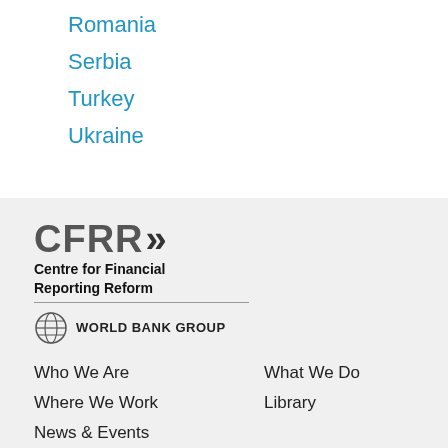Romania
Serbia
Turkey
Ukraine
[Figure (logo): CFRR (Centre for Financial Reporting Reform) logo with World Bank Group branding]
Who We Are
What We Do
Where We Work
Library
News & Events
Newsletter (partial)